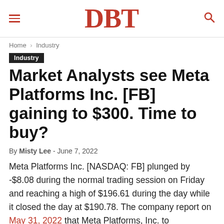DBT
Home › Industry
Industry
Market Analysts see Meta Platforms Inc. [FB] gaining to $300. Time to buy?
By Misty Lee - June 7, 2022
Meta Platforms Inc. [NASDAQ: FB] plunged by -$8.08 during the normal trading session on Friday and reaching a high of $196.61 during the day while it closed the day at $190.78. The company report on May 31, 2022 that Meta Platforms, Inc. to